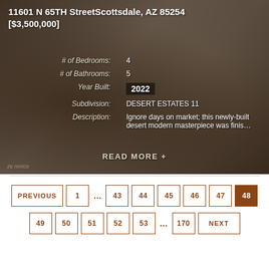11601 N 65TH StreetScottsdale, AZ 85254 [$3,500,000]
| Field | Value |
| --- | --- |
| # of Bedrooms: | 4 |
| # of Bathrooms: | 5 |
| Year Built: | 2022 |
| Subdivision: | DESERT ESTATES 11 |
| Description: | Ignore days on market; this newly-built desert modern masterpiece was finis... |
READ MORE +
PREVIOUS 1 … 43 44 45 46 47 48 49 50 51 52 53 … 170 NEXT